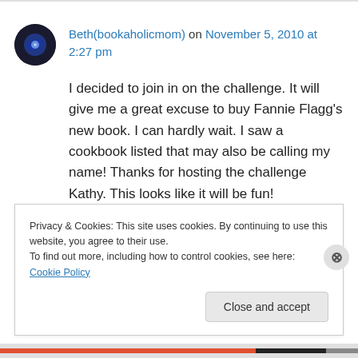Beth(bookaholicmom) on November 5, 2010 at 2:27 pm
I decided to join in on the challenge. It will give me a great excuse to buy Fannie Flagg's new book. I can hardly wait. I saw a cookbook listed that may also be calling my name! Thanks for hosting the challenge Kathy. This looks like it will be fun!
Privacy & Cookies: This site uses cookies. By continuing to use this website, you agree to their use. To find out more, including how to control cookies, see here: Cookie Policy